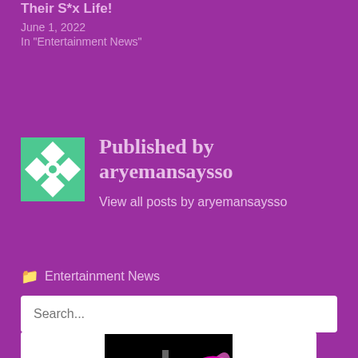Their S*x Life!
June 1, 2022
In "Entertainment News"
Published by aryemansaysso
View all posts by aryemansaysso
Entertainment News
Search...
[Figure (photo): Blog thumbnail image with dark background and pink feather/bird illustration]